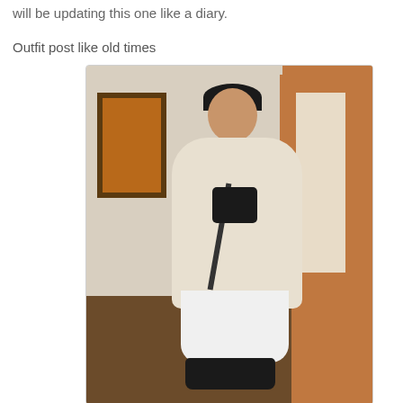will be updating this one like a diary.
Outfit post like old times
[Figure (photo): A person wearing a cream/beige oversized sweater and a white pleated skirt, taking a mirror selfie with a DSLR camera on a strap. Black ankle boots. Background shows a room with artwork on the wall and an orange/brown door frame leading to a hallway.]